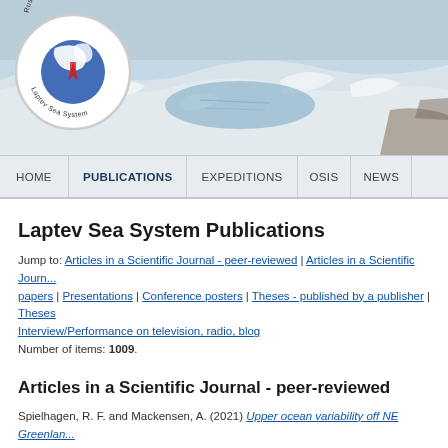[Figure (photo): Arctic/polar landscape header photo showing sea ice and snow-covered terrain with melt pools, with Russian-German Cooperation Laptev Sea System logo overlaid on left side]
HOME | PUBLICATIONS | EXPEDITIONS | OSIS | NEWS
Laptev Sea System Publications
Jump to: Articles in a Scientific Journal - peer-reviewed | Articles in a Scientific Journal - non peer-reviewed papers | Presentations | Conference posters | Theses - published by a publisher | Theses | Interview/Performance on television, radio, blog
Number of items: 1009.
Articles in a Scientific Journal - peer-reviewed
Spielhagen, R. F. and Mackensen, A. (2021) Upper ocean variability off NE Greenland ... morphotypes. Quaternary Science Reviews, 265 . Art.Nr. 107070. DOI 10.1016/j.quas...